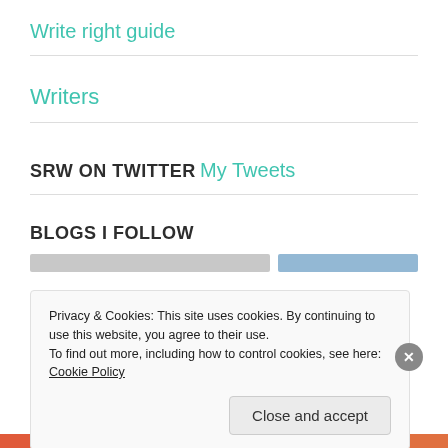Write right guide
Writers
SRW ON TWITTER
My Tweets
BLOGS I FOLLOW
Privacy & Cookies: This site uses cookies. By continuing to use this website, you agree to their use.
To find out more, including how to control cookies, see here: Cookie Policy
Close and accept